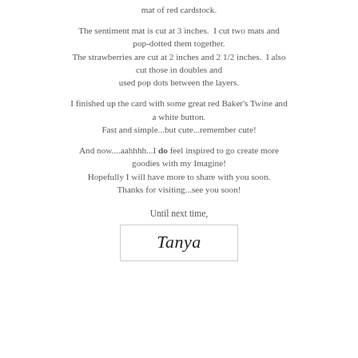mat of red cardstock.
The sentiment mat is cut at 3 inches.  I cut two mats and pop-dotted them together.
The strawberries are cut at 2 inches and 2 1/2 inches.  I also cut those in doubles and used pop dots between the layers.
I finished up the card with some great red Baker's Twine and a white button.
Fast and simple...but cute...remember cute!
And now....aahhhh...I do feel inspired to go create more goodies with my Imagine!
Hopefully I will have more to share with you soon.
Thanks for visiting...see you soon!
Until next time,
[Figure (illustration): A handwritten cursive signature reading 'Tanya' inside a light-bordered box.]